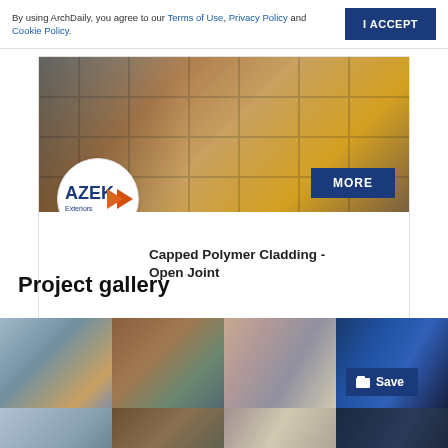By using ArchDaily, you agree to our Terms of Use, Privacy Policy and Cookie Policy.
I ACCEPT
[Figure (photo): AZEK Exteriors advertisement showing capped polymer cladding on a building facade with multiple window frames and colored panels. Blue MORE button overlay in bottom right. AZEK Exteriors circular logo in bottom left.]
Capped Polymer Cladding - Open Joint
Project gallery
[Figure (photo): Project gallery showing four architectural photos in a grid: (1) exterior glass facade building, (2) brick building with fire escape, (3) interior corridor with pendant lights, (4) blue-toned interior hallway with Save button overlay. Second row partially visible.]